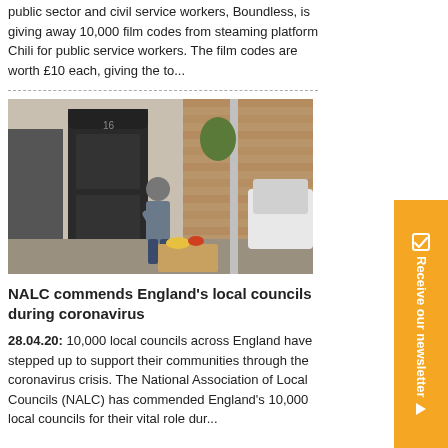Longstanding membership association for the public sector and civil service workers, Boundless, is giving away 10,000 film codes from steaming platform Chili for public service workers. The film codes are worth £10 each, giving the to...
[Figure (photo): A woman bending over to pick up or sort through a cardboard box filled with goods, placed outside a brick building with a dark wooden door. A white car is partially visible to the right.]
NALC commends England's local councils during coronavirus
28.04.20: 10,000 local councils across England have stepped up to support their communities through the coronavirus crisis. The National Association of Local Councils (NALC) has commended England's 10,000 local councils for their vital role dur...